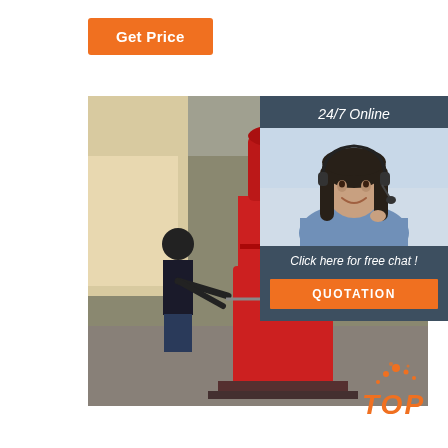Get Price
[Figure (photo): Industrial workshop photo showing a worker operating a large red forging/pressing machine in a factory setting. The machine is tall and red, and the worker in dark clothing and jeans is working at the machine. Industrial equipment and metal parts visible in the background.]
[Figure (photo): Customer service representative - woman with long dark hair wearing a headset and light blue shirt, smiling against a light background. Overlay panel on dark blue-grey background with 24/7 Online text and quotation call-to-action.]
24/7 Online
Click here for free chat !
QUOTATION
[Figure (logo): TOP logo in orange italic text with orange dot/spark graphic elements above it]